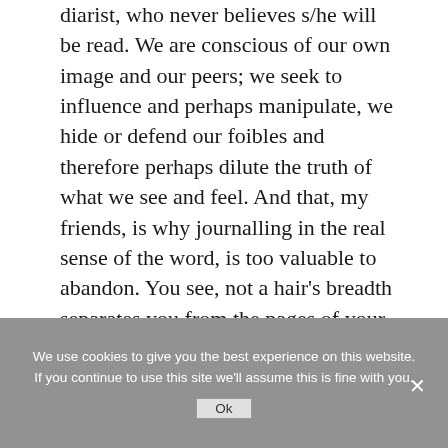diarist, who never believes s/he will be read. We are conscious of our own image and our peers; we seek to influence and perhaps manipulate, we hide or defend our foibles and therefore perhaps dilute the truth of what we see and feel. And that, my friends, is why journalling in the real sense of the word, is too valuable to abandon. You see, not a hair's breadth separates you from the pages of your journal, and there, you might
We use cookies to give you the best experience on this website. If you continue to use this site we'll assume this is fine with you.